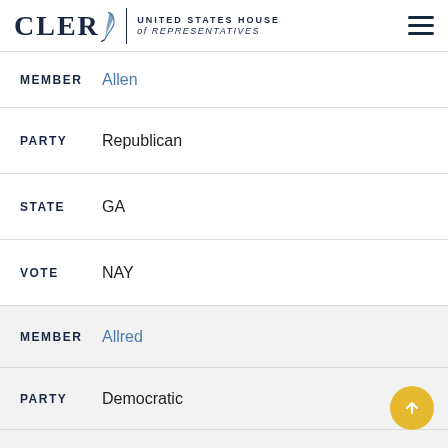CLERK — UNITED STATES HOUSE of REPRESENTATIVES
MEMBER Allen
PARTY Republican
STATE GA
VOTE NAY
MEMBER Allred
PARTY Democratic
STATE TX
VOTE NAY